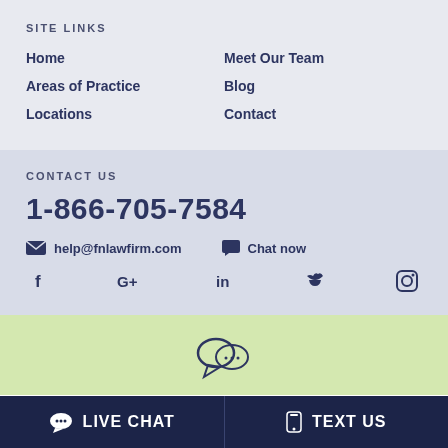SITE LINKS
Home
Meet Our Team
Areas of Practice
Blog
Locations
Contact
CONTACT US
1-866-705-7584
help@fnlawfirm.com
Chat now
LIVE CHAT  TEXT US